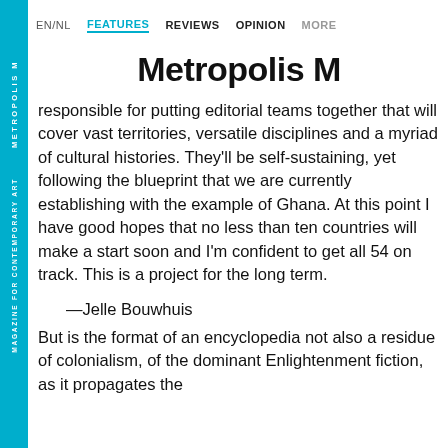EN/NL  FEATURES  REVIEWS  OPINION  MORE
Metropolis M
responsible for putting editorial teams together that will cover vast territories, versatile disciplines and a myriad of cultural histories. They'll be self-sustaining, yet following the blueprint that we are currently establishing with the example of Ghana. At this point I have good hopes that no less than ten countries will make a start soon and I'm confident to get all 54 on track. This is a project for the long term.
—Jelle Bouwhuis
But is the format of an encyclopedia not also a residue of colonialism, of the dominant Enlightenment fiction, as it propagates the